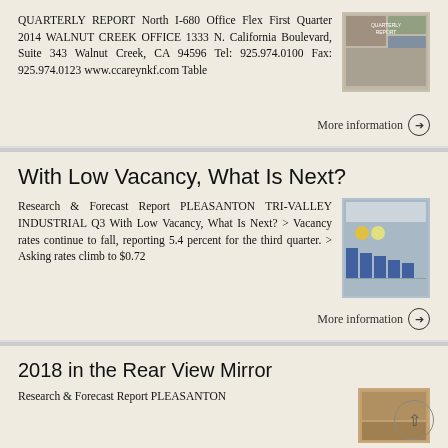QUARTERLY REPORT North I-680 Office Flex First Quarter 2014 WALNUT CREEK OFFICE 1333 N. California Boulevard, Suite 343 Walnut Creek, CA 94596 Tel: 925.974.0100 Fax: 925.974.0123 www.ccareynkf.com Table
[Figure (photo): Quarterly Report cover image thumbnail]
More information →
With Low Vacancy, What Is Next?
Research & Forecast Report PLEASANTON TRI-VALLEY INDUSTRIAL Q3 With Low Vacancy, What Is Next? > Vacancy rates continue to fall, reporting 5.4 percent for the third quarter. > Asking rates climb to $0.72
[Figure (photo): Research & Forecast Report thumbnail with bar charts]
More information →
2018 in the Rear View Mirror
Research & Forecast Report PLEASANTON
[Figure (photo): 2018 Rear View Mirror report thumbnail]